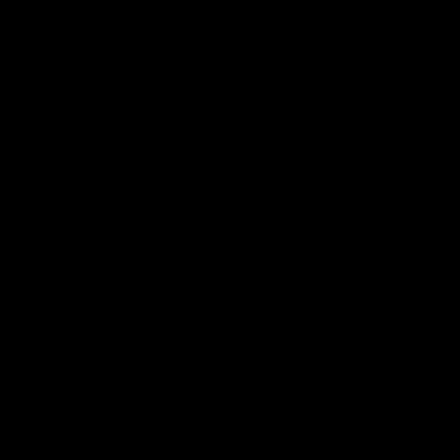[Figure (photo): Completely black image, no visible content or discernible features.]